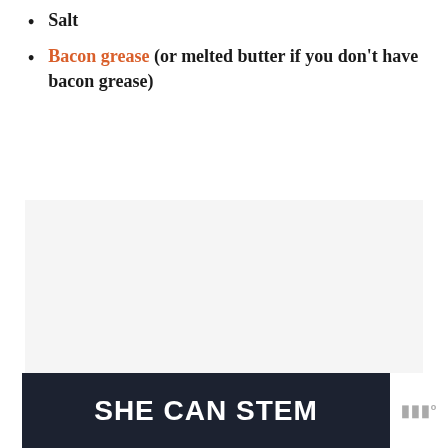Salt
Bacon grease (or melted butter if you don't have bacon grease)
[Figure (other): Gray rectangular image placeholder area]
[Figure (other): Dark navy advertisement banner reading SHE CAN STEM with a small logo to the right]